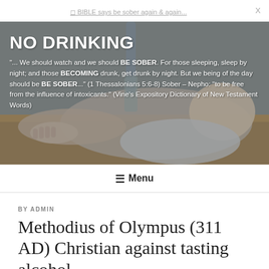☰ BIBLE says be sober again & again…  X
[Figure (photo): Person slumped on a table with a bottle, hero banner image for 'NO DRINKING' website with biblical quote overlay]
NO DRINKING
"... We should watch and we should BE SOBER. For those sleeping, sleep by night; and those BECOMING drunk, get drunk by night. But we being of the day should be BE SOBER..." (1 Thessalonians 5:6-8) Sober – Nepho: "to be free from the influence of intoxicants." (Vine's Expository Dictionary of New Testament Words)
≡ Menu
BY ADMIN
Methodius of Olympus (311 AD) Christian against tasting alcohol